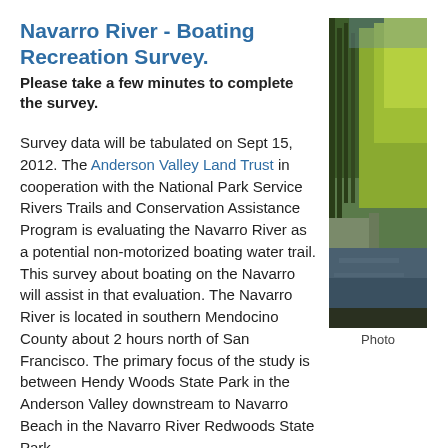Navarro River - Boating Recreation Survey.
Please take a few minutes to complete the survey.
Survey data will be tabulated on Sept 15, 2012. The Anderson Valley Land Trust in cooperation with the National Park Service Rivers Trails and Conservation Assistance Program is evaluating the Navarro River as a potential non-motorized boating water trail. This survey about boating on the Navarro will assist in that evaluation. The Navarro River is located in southern Mendocino County about 2 hours north of San Francisco. The primary focus of the study is between Hendy Woods State Park in the Anderson Valley downstream to Navarro Beach in the Navarro River Redwoods State Park .
[Figure (photo): Photograph of the Navarro River area showing a river corridor with tall trees and forested hillside, taken from road level.]
Photo